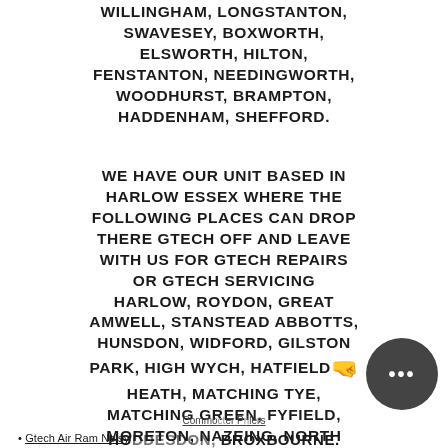WILLINGHAM, LONGSTANTON, SWAVESEY, BOXWORTH, ELSWORTH, HILTON, FENSTANTON, NEEDINGWORTH, WOODHURST, BRAMPTON, HADDENHAM, SHEFFORD.
WE HAVE OUR UNIT BASED IN HARLOW ESSEX WHERE THE FOLLOWING PLACES CAN DROP THERE GTECH OFF AND LEAVE WITH US FOR GTECH REPAIRS OR GTECH SERVICING HARLOW, ROYDON, GREAT AMWELL, STANSTEAD ABBOTTS, HUNSDON, WIDFORD, GILSTON PARK, HIGH WYCH, HATFIELD HEATH, MATCHING TYE, MATCHING GREEN, FYFIELD, MORETON, NAZEING, NORTH WEALD, ONGAR, EPPING, LOUGHTON, WALTHAM ABBEY, WALTHAM CROSS, CHESHUNT, CUFFLEY, POTTERS BAR, HODDESDON, BROXBOURNE.
Comment by Prilers
Gtech Air Ram Noisy